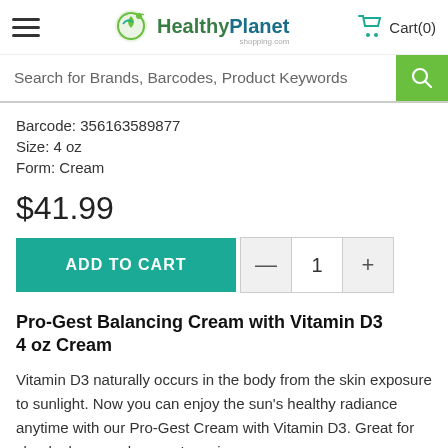HealthyPlanet shopping.com — Cart(0)
Search for Brands, Barcodes, Product Keywords
Barcode: 356163589877
Size: 4 oz
Form: Cream
$41.99
ADD TO CART  —  1  +
Pro-Gest Balancing Cream with Vitamin D3 4 oz Cream
Vitamin D3 naturally occurs in the body from the skin exposure to sunlight. Now you can enjoy the sun's healthy radiance anytime with our Pro-Gest Cream with Vitamin D3. Great for cloudy days or when you're using sunscreen.